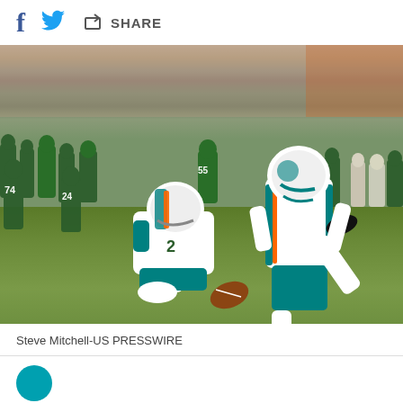[Figure (other): Social share bar with Facebook, Twitter, and Share icons/buttons on white background]
[Figure (photo): NFL football game photo: Miami Dolphins kicker preparing to kick a field goal, with holder in position (#2), on a grass field with New York Jets players and crowd in background. Photo credit: Steve Mitchell-US PRESSWIRE]
Steve Mitchell-US PRESSWIRE
[Figure (other): Bottom of page showing start of next content section with teal circular avatar/icon]